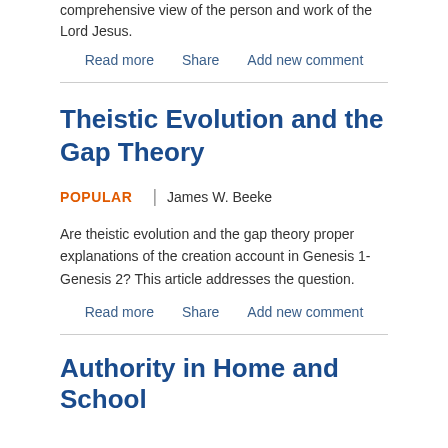comprehensive view of the person and work of the Lord Jesus.
Read more   Share   Add new comment
Theistic Evolution and the Gap Theory
POPULAR | James W. Beeke
Are theistic evolution and the gap theory proper explanations of the creation account in Genesis 1-Genesis 2? This article addresses the question.
Read more   Share   Add new comment
Authority in Home and School